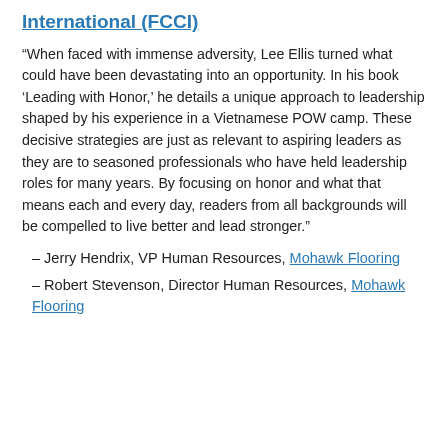International (FCCI)
“When faced with immense adversity, Lee Ellis turned what could have been devastating into an opportunity. In his book ‘Leading with Honor,’ he details a unique approach to leadership shaped by his experience in a Vietnamese POW camp. These decisive strategies are just as relevant to aspiring leaders as they are to seasoned professionals who have held leadership roles for many years. By focusing on honor and what that means each and every day, readers from all backgrounds will be compelled to live better and lead stronger.”
– Jerry Hendrix, VP Human Resources, Mohawk Flooring
– Robert Stevenson, Director Human Resources, Mohawk Flooring